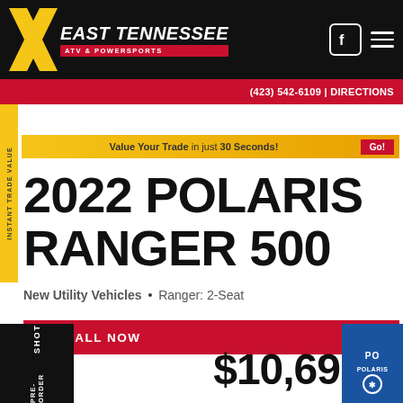[Figure (logo): East Tennessee ATV & Powersports logo with yellow X graphic on black background]
(423) 542-6109 | DIRECTIONS
INSTANT TRADE VALUE
Value Your Trade in just 30 Seconds! Go!
2022 POLARIS RANGER 500
New Utility Vehicles • Ranger: 2-Seat
CALL NOW
$10,69